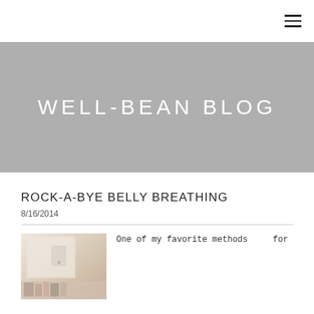≡
WELL-BEAN BLOG
ROCK-A-BYE BELLY BREATHING
8/16/2014
[Figure (photo): A soft-toned photo of a room with books or items on a shelf, with a small label or tag visible.]
One of my favorite methods for teaching breathing th...